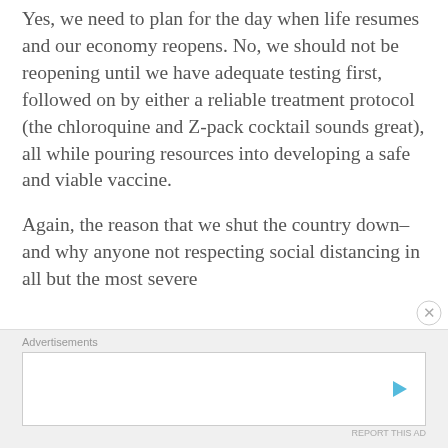Yes, we need to plan for the day when life resumes and our economy reopens. No, we should not be reopening until we have adequate testing first, followed on by either a reliable treatment protocol (the chloroquine and Z-pack cocktail sounds great), all while pouring resources into developing a safe and viable vaccine.
Again, the reason that we shut the country down–and why anyone not respecting social distancing in all but the most severe
Advertisements